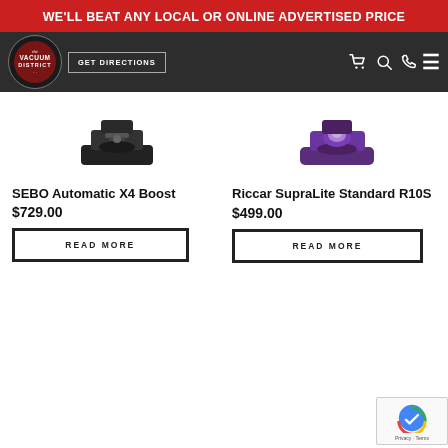WE'LL BEAT ANY LOCAL OR ONLINE ADVERTISED PRICE
[Figure (logo): The Vacuum District circular logo with dark red background and white text]
GET DIRECTIONS
[Figure (photo): SEBO Automatic X4 Boost vacuum cleaner product image]
SEBO Automatic X4 Boost
$729.00
READ MORE
[Figure (photo): Riccar SupraLite Standard R10S purple vacuum cleaner product image]
Riccar SupraLite Standard R10S
$499.00
READ MORE
[Figure (other): Google reCAPTCHA badge with Privacy and Terms links]